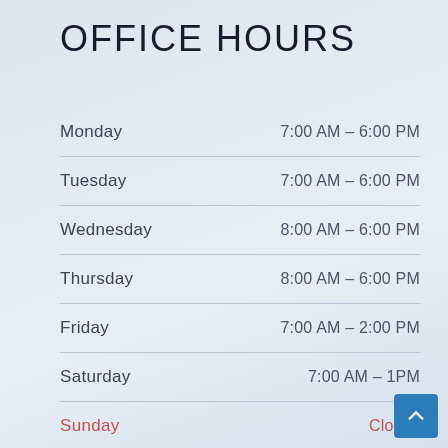OFFICE HOURS
| Day | Hours |
| --- | --- |
| Monday | 7:00 AM - 6:00 PM |
| Tuesday | 7:00 AM - 6:00 PM |
| Wednesday | 8:00 AM - 6:00 PM |
| Thursday | 8:00 AM - 6:00 PM |
| Friday | 7:00 AM - 2:00 PM |
| Saturday | 7:00 AM - 1PM |
| Sunday | Closed |